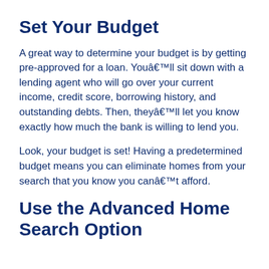Set Your Budget
A great way to determine your budget is by getting pre-approved for a loan. Youâ€™ll sit down with a lending agent who will go over your current income, credit score, borrowing history, and outstanding debts. Then, theyâ€™ll let you know exactly how much the bank is willing to lend you.
Look, your budget is set! Having a predetermined budget means you can eliminate homes from your search that you know you canâ€™t afford.
Use the Advanced Home Search Option